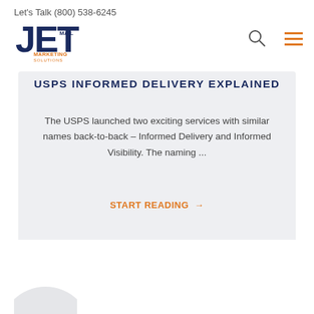Let's Talk (800) 538-6245
[Figure (logo): JET Mail Marketing Solutions logo — bold blue letters J, E, T with orange accent and orange text MARKETING SOLUTIONS]
USPS INFORMED DELIVERY EXPLAINED
The USPS launched two exciting services with similar names back-to-back – Informed Delivery and Informed Visibility. The naming ...
START READING →